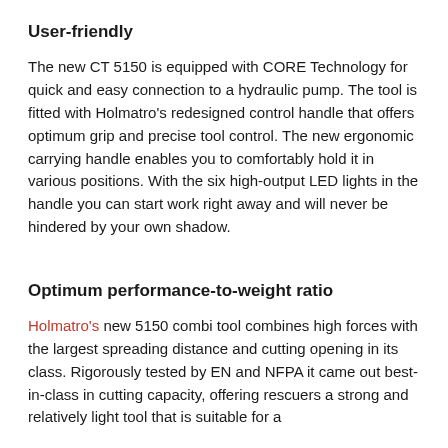User-friendly
The new CT 5150 is equipped with CORE Technology for quick and easy connection to a hydraulic pump. The tool is fitted with Holmatro’s redesigned control handle that offers optimum grip and precise tool control. The new ergonomic carrying handle enables you to comfortably hold it in various positions. With the six high-output LED lights in the handle you can start work right away and will never be hindered by your own shadow.
Optimum performance-to-weight ratio
Holmatro’s new 5150 combi tool combines high forces with the largest spreading distance and cutting opening in its class. Rigorously tested by EN and NFPA it came out best-in-class in cutting capacity, offering rescuers a strong and relatively light tool that is suitable for a